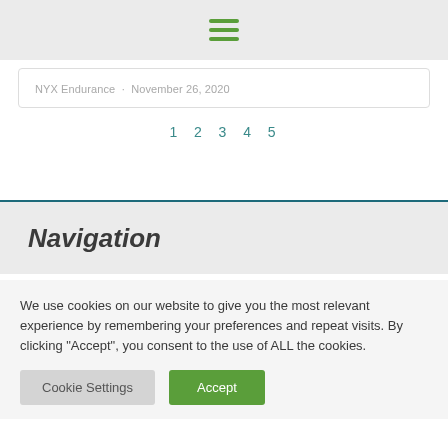NYX Endurance · November 26, 2020
1 2 3 4 5
Navigation
We use cookies on our website to give you the most relevant experience by remembering your preferences and repeat visits. By clicking "Accept", you consent to the use of ALL the cookies.
Cookie Settings | Accept